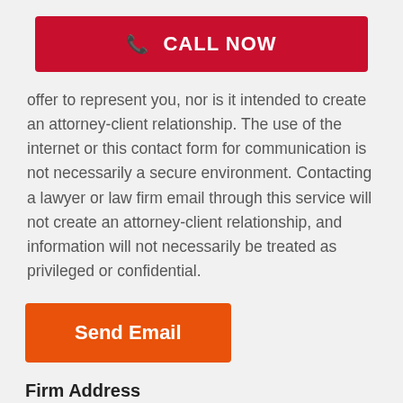[Figure (other): Red 'CALL NOW' button with phone icon]
offer to represent you, nor is it intended to create an attorney-client relationship. The use of the internet or this contact form for communication is not necessarily a secure environment. Contacting a lawyer or law firm email through this service will not create an attorney-client relationship, and information will not necessarily be treated as privileged or confidential.
[Figure (other): Orange 'Send Email' button]
Firm Address
Phone:
870-423-2317
Fax:
870-741-5479